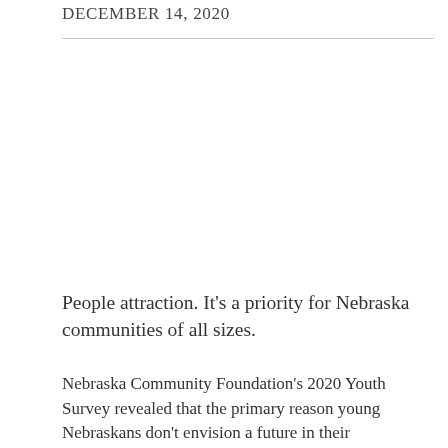DECEMBER 14, 2020
People attraction. It's a priority for Nebraska communities of all sizes.
Nebraska Community Foundation's 2020 Youth Survey revealed that the primary reason young Nebraskans don't envision a future in their hometowns comes down to job opportunities —